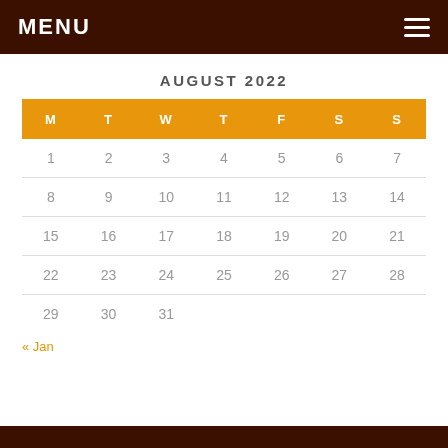MENU
AUGUST 2022
| M | T | W | T | F | S | S |
| --- | --- | --- | --- | --- | --- | --- |
| 1 | 2 | 3 | 4 | 5 | 6 | 7 |
| 8 | 9 | 10 | 11 | 12 | 13 | 14 |
| 15 | 16 | 17 | 18 | 19 | 20 | 21 |
| 22 | 23 | 24 | 25 | 26 | 27 | 28 |
| 29 | 30 | 31 |  |  |  |  |
« Jan